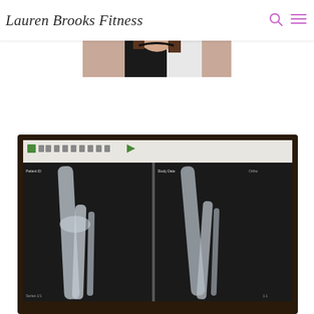Lauren Brooks Fitness
[Figure (photo): Photo of Lauren Brooks, a woman with long dark hair smiling, cropped portrait style, overlapping the header area]
[Figure (photo): X-ray image displayed on a computer screen showing leg/knee bones from two angles, screen is inside a dark monitor frame, displayed in a medical setting]